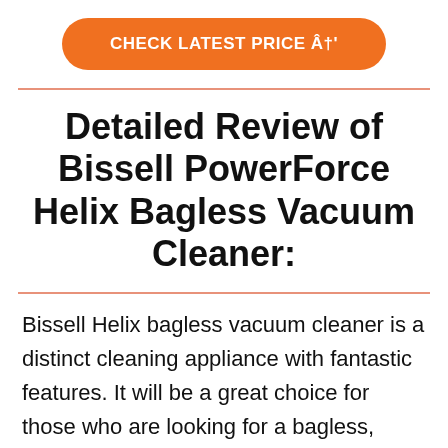[Figure (other): Orange rounded rectangle button with white bold uppercase text: CHECK LATEST PRICE Â†']
Detailed Review of Bissell PowerForce Helix Bagless Vacuum Cleaner:
Bissell Helix bagless vacuum cleaner is a distinct cleaning appliance with fantastic features. It will be a great choice for those who are looking for a bagless, efficient